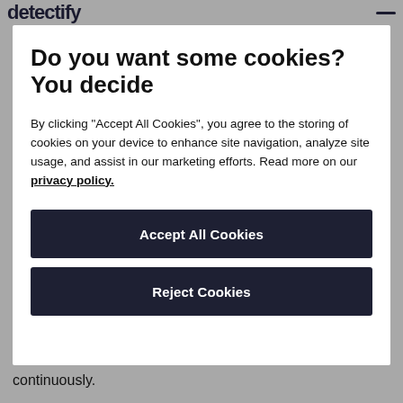detectify
Do you want some cookies? You decide
By clicking "Accept All Cookies", you agree to the storing of cookies on your device to enhance site navigation, analyze site usage, and assist in our marketing efforts. Read more on our privacy policy.
Accept All Cookies
Reject Cookies
continuously.